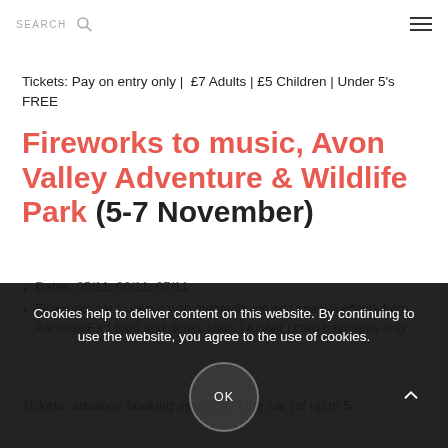SEARCH [search icon] [hamburger menu]
Tickets: Pay on entry only |  £7 Adults | £5 Children | Under 5's FREE
Fireworks to music, Avon Valley Adventure & Wildlife Park (5-7 November)
Dates: 05/11, 06/11, 07/11
Fireworks set to music with pyrotechnics and special effects from AardvarkFX | food and drinks stalls | funfair | card payments only
Tickets: advance booking essential. One car (of up to 5
Cookies help to deliver content on this website. By continuing to use the website, you agree to the use of cookies.